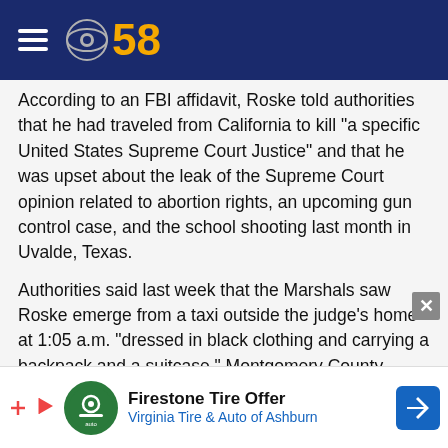CBS 58
According to an FBI affidavit, Roske told authorities that he had traveled from California to kill "a specific United States Supreme Court Justice" and that he was upset about the leak of the Supreme Court opinion related to abortion rights, an upcoming gun control case, and the school shooting last month in Uvalde, Texas.
Authorities said last week that the Marshals saw Roske emerge from a taxi outside the judge's home at 1:05 a.m. "dressed in black clothing and carrying a backpack and a suitcase." Montgomery County police have said that they responded to a call for service at 1:42 a.m.
[Figure (other): Advertisement banner: Firestone Tire Offer - Virginia Tire & Auto of Ashburn]